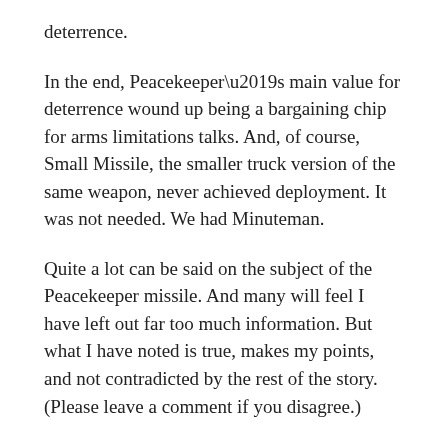deterrence.
In the end, Peacekeeper’s main value for deterrence wound up being a bargaining chip for arms limitations talks. And, of course, Small Missile, the smaller truck version of the same weapon, never achieved deployment. It was not needed. We had Minuteman.
Quite a lot can be said on the subject of the Peacekeeper missile. And many will feel I have left out far too much information. But what I have noted is true, makes my points, and not contradicted by the rest of the story. (Please leave a comment if you disagree.)
This summary helps reveal the intimate nature of a system and its mission. For instance, many people who functioned as a component in nuclear weapon systems